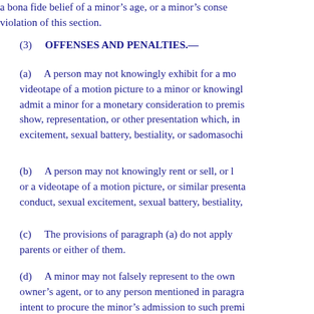a bona fide belief of a minor's age, or a minor's consent is a defense to a violation of this section.
(3)    OFFENSES AND PENALTIES.—
(a)    A person may not knowingly exhibit for a monetary consideration a videotape of a motion picture to a minor or knowingly sell a ticket to or admit a minor for a monetary consideration to premises whereat there is a show, representation, or other presentation which, in whole or in part, depicts excitement, sexual battery, bestiality, or sadomasochistic abuse.
(b)    A person may not knowingly rent or sell, or knowingly offer to rent or sell a videotape of a motion picture, or similar presentation, which depicts conduct, sexual excitement, sexual battery, bestiality, or sadomasochistic abuse.
(c)    The provisions of paragraph (a) do not apply when the minor's parents or either of them.
(d)    A minor may not falsely represent to the owner, operator, or owner's agent, or to any person mentioned in paragraph (a), with the intent to procure the minor's admission to such premises or a ticket for a monetary consideration.
(e)    A person may not knowingly make a false representation to paragraph (a), or to the owner's agent, or to any person, as to the age of any minor or that any minor is 17 years of age or older, to procure premises or to aid the minor in procuring admission to such premises, or a videotape, for a monetary consideration.
(f)    A violation of any provision of this section...